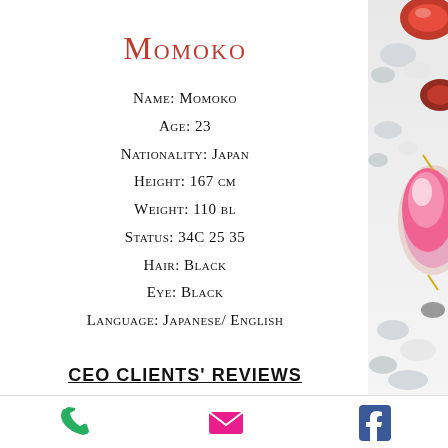Momoko
Name: Momoko
Age: 23
Nationality: Japan
Height: 167 cm
Weight: 110 bl
Status: 34C 25 35
Hair: Black
Eye: Black
Language: Japanese/ English
CEO CLIENTS' REVIEWS
[Figure (illustration): Decorative jewel image on right side — red and pink gemstones with diamonds]
[Figure (illustration): Footer bar with phone, email, and Facebook icons]